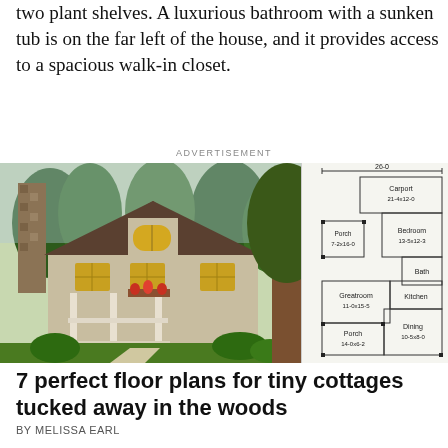two plant shelves. A luxurious bathroom with a sunken tub is on the far left of the house, and it provides access to a spacious walk-in closet.
ADVERTISEMENT
[Figure (photo): Left: Exterior photo of a small cottage-style house with stone chimney, front porch with white railings, dormer window, and landscaping. Right: Floor plan diagram showing Carport 21-4x12-0, Bedroom 13-5x12-3, Porch 7-2x16-0, Bath, Greatroom 11-0x15-5, Kitchen, Porch 14-0x6-2, Dining 10-5x8, with overall width labeled 26-0.]
7 perfect floor plans for tiny cottages tucked away in the woods
BY MELISSA EARL